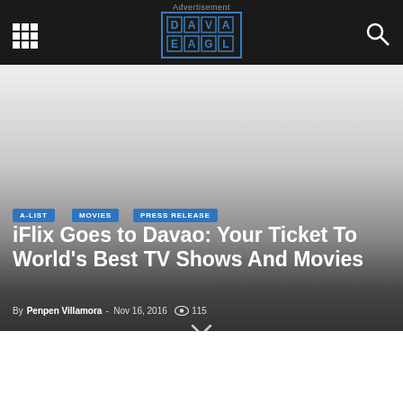Advertisement
iFlix Goes to Davao: Your Ticket To World's Best TV Shows And Movies
By Penpen Villamora - Nov 16, 2016  115
A-LIST
MOVIES
PRESS RELEASE